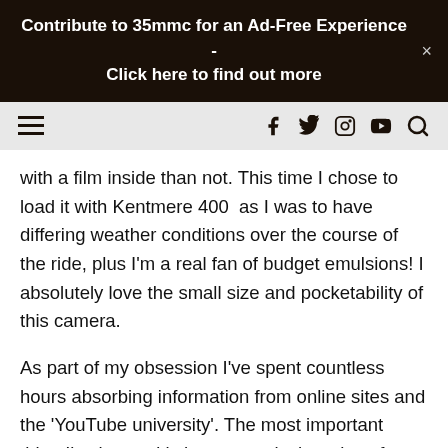Contribute to 35mmc for an Ad-Free Experience - Click here to find out more
[Figure (other): Navigation bar with hamburger menu on the left and social media icons (Facebook, Twitter, Instagram, YouTube) and search icon on the right]
with a film inside than not. This time I chose to load it with Kentmere 400 as I was to have differing weather conditions over the course of the ride, plus I'm a real fan of budget emulsions! I absolutely love the small size and pocketability of this camera.
As part of my obsession I've spent countless hours absorbing information from online sites and the 'YouTube university'. The most important thing I've learned is how to apply the rules of, sunny 16 to their full potential. Something which is often overlooked. I never manage to pack light for any cycling trip but I was determined that my camera gear would be minimal, hence forfeiting the light meter in favour of trusting